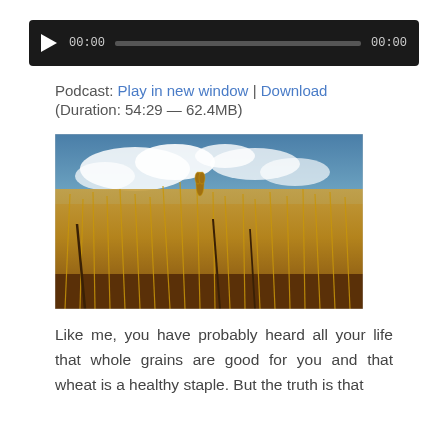[Figure (other): Audio player bar with play button, time display 00:00, progress bar, and end time 00:00 on dark background]
Podcast: Play in new window | Download
(Duration: 54:29 — 62.4MB)
[Figure (photo): Photograph of a wheat field taken from ground level with golden wheat stalks in foreground and a blue sky with white clouds in background, vintage/warm color tone]
Like me, you have probably heard all your life that whole grains are good for you and that wheat is a healthy staple. But the truth is that